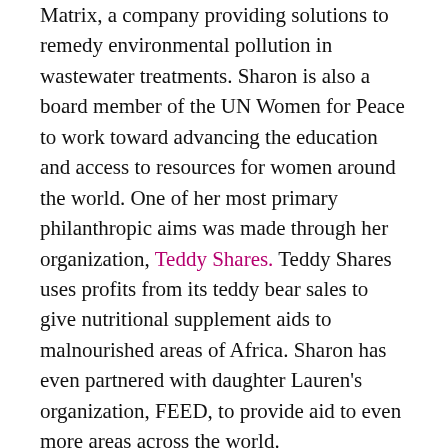Matrix, a company providing solutions to remedy environmental pollution in wastewater treatments. Sharon is also a board member of the UN Women for Peace to work toward advancing the education and access to resources for women around the world. One of her most primary philanthropic aims was made through her organization, Teddy Shares. Teddy Shares uses profits from its teddy bear sales to give nutritional supplement aids to malnourished areas of Africa. Sharon has even partnered with daughter Lauren's organization, FEED, to provide aid to even more areas across the world.
The divorce between Sharon and Neil was anything but private. Public scandals, Neil's affair, and accusations amidst the two flooded newsstands and headlines. More often than not, Sharon got the short